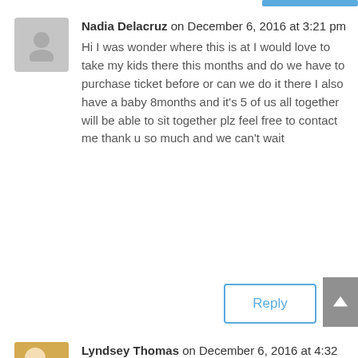Nadia Delacruz on December 6, 2016 at 3:21 pm
Hi I was wonder where this is at I would love to take my kids there this months and do we have to purchase ticket before or can we do it there I also have a baby 8months and it's 5 of us all together will be able to sit together plz feel free to contact me thank u so much and we can't wait
Reply
Lyndsey Thomas on December 6, 2016 at 4:32 pm
Hi Nadia, thanks for your message. I would advise that you no online or call them and